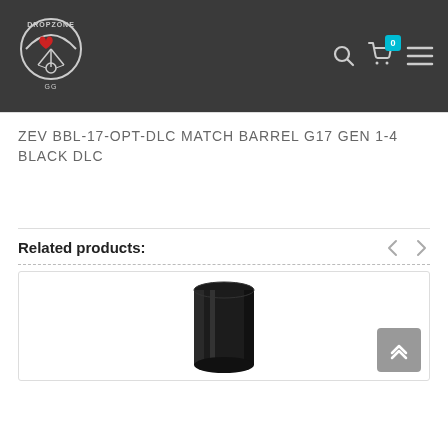Dropzone GG — site header with logo, search, cart (0), and menu
ZEV BBL-17-OPT-DLC MATCH BARREL G17 GEN 1-4 BLACK DLC
Related products:
[Figure (photo): Photo of a black cylindrical gun barrel (ZEV match barrel) shown on a white background inside a product card]